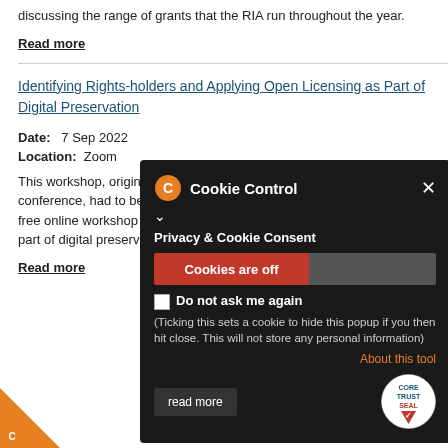discussing the range of grants that the RIA run throughout the year.
Read more
Identifying Rights-holders and Applying Open Licensing as Part of Digital Preservation
Date: 7 Sep 2022
Location: Zoom
This workshop, originally planned as part of the 2022 DPASSH conference, had to be postponed so this is an opportunity to take part in a free online workshop to identify rights-holders and apply open licensing as part of digital preservation.
Read more
[Figure (screenshot): Cookie Control popup overlay with orange gear icon, title 'Cookie Control', 'Privacy & Cookie Consent' subtitle, red 'Cookies are off' toggle, 'Do not ask me again' checkbox, explanatory text, 'About this tool' link, and 'read more' button with Core Trust Seal logo]
Digital Repository of Ireland Royal Irish Academy 19 Dawson Street Dublin 2 Email dri@ria.ie